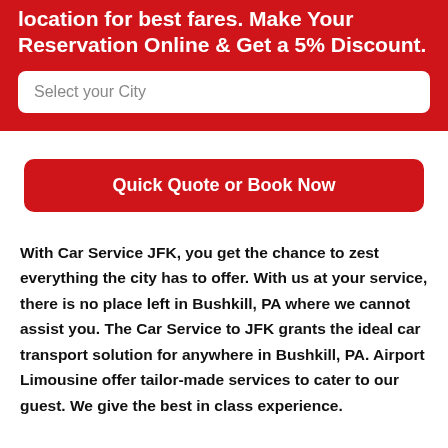location for best fares. Make Your Reservation Online & Get a 5% Discount.
Select your City
Quick Quote or Book Now
With Car Service JFK, you get the chance to zest everything the city has to offer. With us at your service, there is no place left in Bushkill, PA where we cannot assist you. The Car Service to JFK grants the ideal car transport solution for anywhere in Bushkill, PA. Airport Limousine offer tailor-made services to cater to our guest. We give the best in class experience.